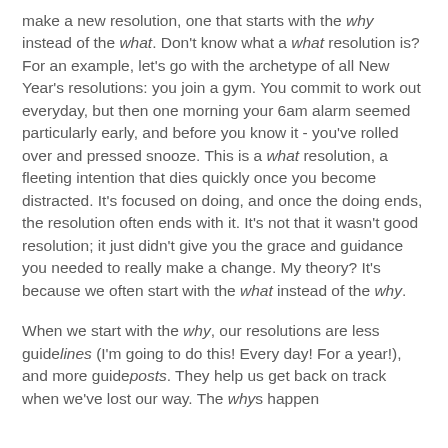make a new resolution, one that starts with the why instead of the what. Don't know what a what resolution is? For an example, let's go with the archetype of all New Year's resolutions: you join a gym. You commit to work out everyday, but then one morning your 6am alarm seemed particularly early, and before you know it - you've rolled over and pressed snooze. This is a what resolution, a fleeting intention that dies quickly once you become distracted. It's focused on doing, and once the doing ends, the resolution often ends with it. It's not that it wasn't good resolution; it just didn't give you the grace and guidance you needed to really make a change. My theory? It's because we often start with the what instead of the why.
When we start with the why, our resolutions are less guidelines (I'm going to do this! Every day! For a year!), and more guideposts. They help us get back on track when we've lost our way. The whys happen